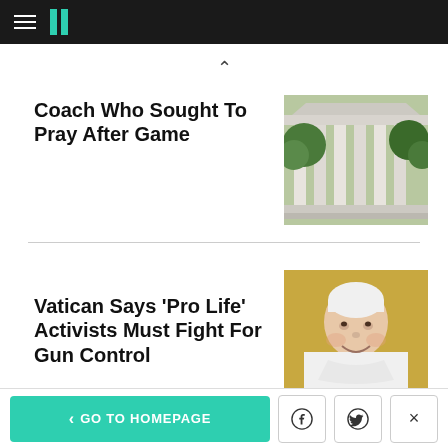HuffPost navigation bar with hamburger menu and logo
Coach Who Sought To Pray After Game
[Figure (photo): Exterior of a large white building with columns and trees — appears to be the US Supreme Court]
Vatican Says 'Pro Life' Activists Must Fight For Gun Control
[Figure (photo): Elderly man in white papal vestments and zucchetto — Pope Francis smiling]
< GO TO HOMEPAGE